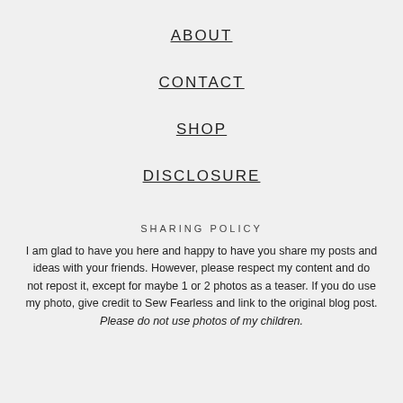ABOUT
CONTACT
SHOP
DISCLOSURE
SHARING POLICY
I am glad to have you here and happy to have you share my posts and ideas with your friends. However, please respect my content and do not repost it, except for maybe 1 or 2 photos as a teaser. If you do use my photo, give credit to Sew Fearless and link to the original blog post. Please do not use photos of my children.